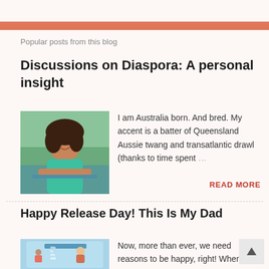Popular posts from this blog
Discussions on Diaspora: A personal insight
[Figure (photo): Portrait of a woman with curly hair wearing a teal top, leaning on a railing outdoors with green foliage in background]
I am Australia born. And bred. My accent is a batter of Queensland Aussie twang and transatlantic drawl (thanks to time spent …
READ MORE
Happy Release Day! This Is My Dad
[Figure (photo): Book cover of 'This Is My Dad' with illustrated child and adult figure on light blue background]
Now, more than ever, we need reasons to be happy, right! When mayhem reigns supreme and suffering escalates, it is sometimes b…